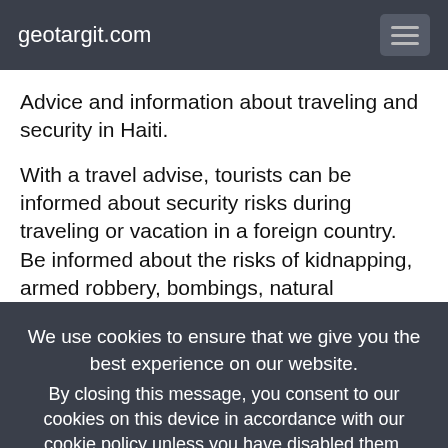geotargit.com
Advice and information about traveling and security in Haiti.
With a travel advise, tourists can be informed about security risks during traveling or vacation in a foreign country. Be informed about the risks of kidnapping, armed robbery, bombings, natural disasters, and for which countries foreign...
We use cookies to ensure that we give you the best experience on our website.
By closing this message, you consent to our cookies on this device in accordance with our cookie policy unless you have disabled them.
I Agree!